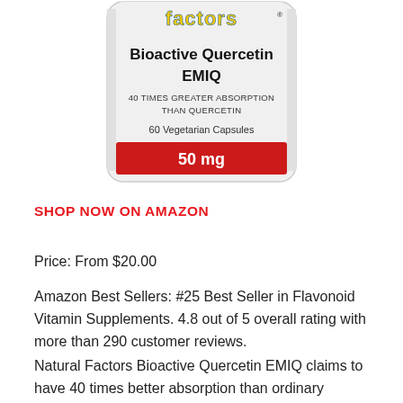[Figure (photo): Product bottle of Natural Factors Bioactive Quercetin EMIQ, 60 Vegetarian Capsules, 50 mg, with red band at bottom showing dosage and yellow/blue logo at top.]
SHOP NOW ON AMAZON
Price: From $20.00
Amazon Best Sellers: #25 Best Seller in Flavonoid Vitamin Supplements. 4.8 out of 5 overall rating with more than 290 customer reviews.
Natural Factors Bioactive Quercetin EMIQ claims to have 40 times better absorption than ordinary quercetin. Other quercetin supplements here use bromelain to boost